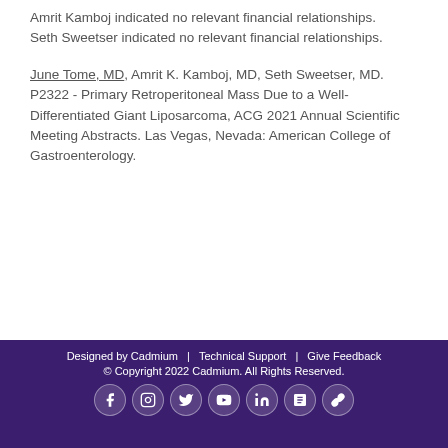Amrit Kamboj indicated no relevant financial relationships.
Seth Sweetser indicated no relevant financial relationships.
June Tome, MD, Amrit K. Kamboj, MD, Seth Sweetser, MD. P2322 - Primary Retroperitoneal Mass Due to a Well-Differentiated Giant Liposarcoma, ACG 2021 Annual Scientific Meeting Abstracts. Las Vegas, Nevada: American College of Gastroenterology.
Designed by Cadmium | Technical Support | Give Feedback
© Copyright 2022 Cadmium. All Rights Reserved.